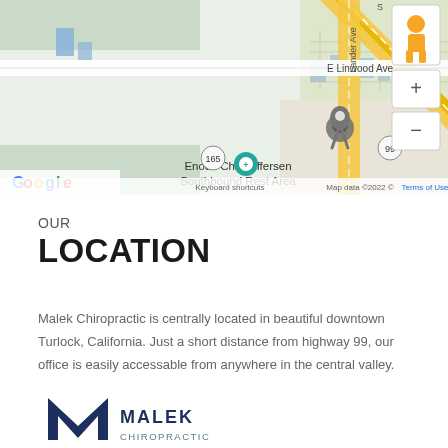[Figure (screenshot): Google Maps screenshot showing the area around Enoch Christoffersen Southbound Rest Area near Turlock, California. Highways 99 and 165 visible, with a location pin dropped on the map. Google branding, zoom controls, and map attribution visible.]
OUR
LOCATION
Malek Chiropractic is centrally located in beautiful downtown Turlock, California. Just a short distance from highway 99, our office is easily accessable from anywhere in the central valley.
[Figure (logo): Malek Chiropractic logo showing a dark blue M letter mark and the text MALEK CHIROPRACTIC in dark blue/grey]